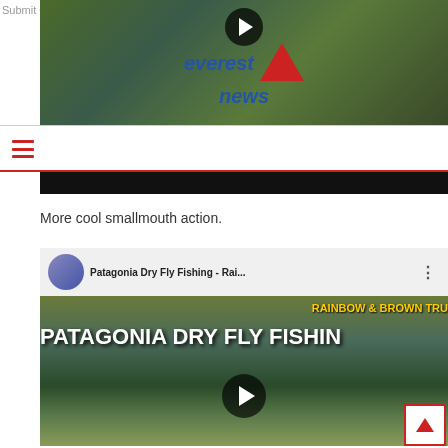Submit Content
[Figure (screenshot): Video thumbnail showing a fish being held, with Everest News logo overlay and a play button]
[Figure (other): Hamburger menu icon (three red horizontal lines)]
More cool smallmouth action.
[Figure (screenshot): YouTube video thumbnail for 'Patagonia Dry Fly Fishing - Rai...' showing a person fly fishing with text RAINBOW & BROWN TRU and PATAGONIA DRY FLY FISHIN, with play button overlay]